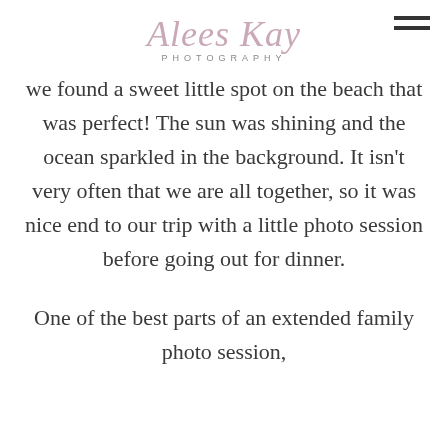Alees Kay PHOTOGRAPHY
we found a sweet little spot on the beach that was perfect! The sun was shining and the ocean sparkled in the background. It isn't very often that we are all together, so it was nice end to our trip with a little photo session before going out for dinner.

One of the best parts of an extended family photo session,